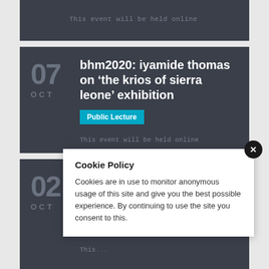This event will be held online
bhm2020: iyamide thomas on ‘the krios of sierra leone’ exhibition
Public Lecture
This event will be held online
bhm2020: ut pictura poesis - an... and...
Disc...
This...
Cookie Policy
Cookies are in use to monitor anonymous usage of this site and give you the best possible experience. By continuing to use the site you consent to this.
march 80%...